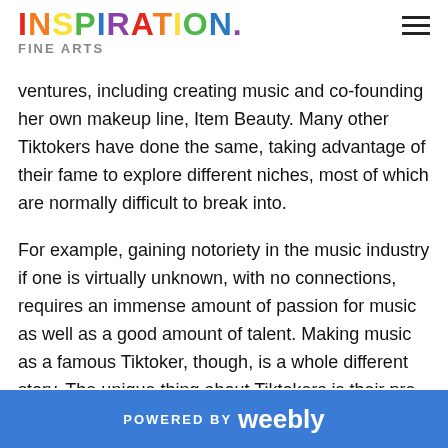INSPIRATION. FINE ARTS
ventures, including creating music and co-founding her own makeup line, Item Beauty. Many other Tiktokers have done the same, taking advantage of their fame to explore different niches, most of which are normally difficult to break into.
For example, gaining notoriety in the music industry if one is virtually unknown, with no connections, requires an immense amount of passion for music as well as a good amount of talent. Making music as a famous Tiktoker, though, is a whole different story. The unique thing about Tiktokers is their pre-established platform. People like Easterling and Dixie D'amelio already have
POWERED BY weebly